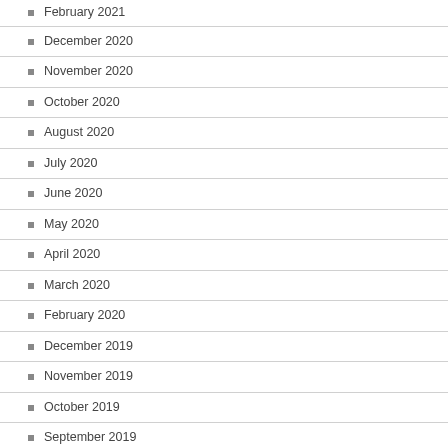February 2021
December 2020
November 2020
October 2020
August 2020
July 2020
June 2020
May 2020
April 2020
March 2020
February 2020
December 2019
November 2019
October 2019
September 2019